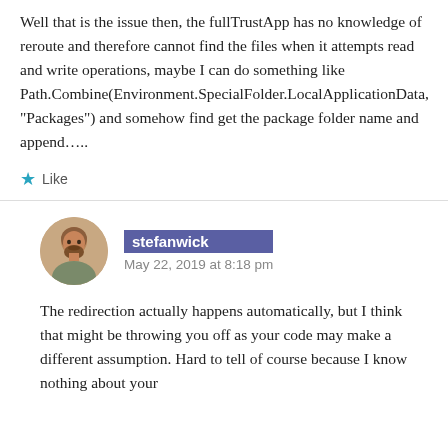Well that is the issue then, the fullTrustApp has no knowledge of reroute and therefore cannot find the files when it attempts read and write operations, maybe I can do something like Path.Combine(Environment.SpecialFolder.LocalApplicationData, "Packages") and somehow find get the package folder name and append…..
★ Like
stefanwick
May 22, 2019 at 8:18 pm
The redirection actually happens automatically, but I think that might be throwing you off as your code may make a different assumption. Hard to tell of course because I know nothing about your